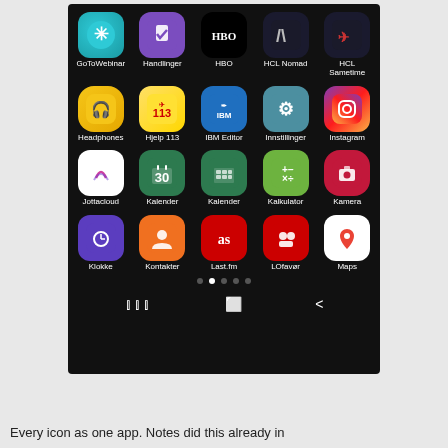[Figure (screenshot): Android phone app drawer screenshot showing 20 app icons in a 5x4 grid on a dark background. Apps visible: GoToWebinar, Handlinger, HBO, HCL Nomad, HCL Sametime, Headphones, Hjelp 113, IBM Editor, Innstillinger, Instagram, Jottacloud, Kalender, Kalender, Kalkulator, Kamera, Klokke, Kontakter, Last.fm, LOfavør, Maps. Navigation bar with three buttons at bottom.]
Every icon as one app. Notes did this already in